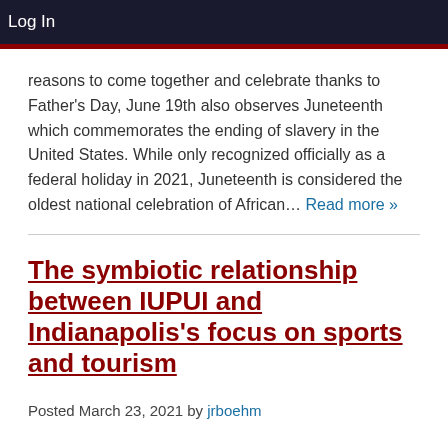Log In
reasons to come together and celebrate thanks to Father's Day, June 19th also observes Juneteenth which commemorates the ending of slavery in the United States. While only recognized officially as a federal holiday in 2021, Juneteenth is considered the oldest national celebration of African… Read more »
The symbiotic relationship between IUPUI and Indianapolis's focus on sports and tourism
Posted March 23, 2021 by jrboehm